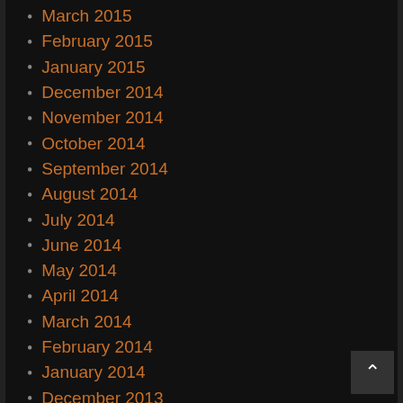March 2015
February 2015
January 2015
December 2014
November 2014
October 2014
September 2014
August 2014
July 2014
June 2014
May 2014
April 2014
March 2014
February 2014
January 2014
December 2013
November 2013
October 2013
September 2013
August 2013
July 2013
June 2013